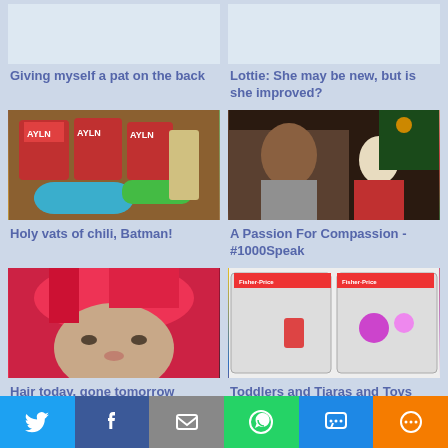[Figure (photo): Top left blog card image placeholder (light blue/white)]
Giving myself a pat on the back
[Figure (photo): Top right blog card image placeholder (light blue/white)]
Lottie: She may be new, but is she improved?
[Figure (photo): Photo of chili ingredients: canned tomatoes, green onions, onions in blue bowl]
Holy vats of chili, Batman!
[Figure (photo): Photo of older woman and baby near Christmas tree]
A Passion For Compassion - #1000Speak
[Figure (photo): Close-up selfie of person with bright red/pink hair]
Hair today, gone tomorrow
[Figure (photo): Photo of Fisher-Price toy sets in packaging]
Toddlers and Tiaras and Toys